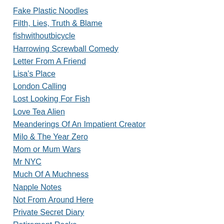Fake Plastic Noodles
Filth, Lies, Truth & Blame
fishwithoutbicycle
Harrowing Screwball Comedy
Letter From A Friend
Lisa's Place
London Calling
Lost Looking For Fish
Love Tea Alien
Meanderings Of An Impatient Creator
Milo & The Year Zero
Mom or Mum Wars
Mr NYC
Much Of A Muchness
Napple Notes
Not From Around Here
Private Secret Diary
Retirement Rocks
Sven's Guide To Oz